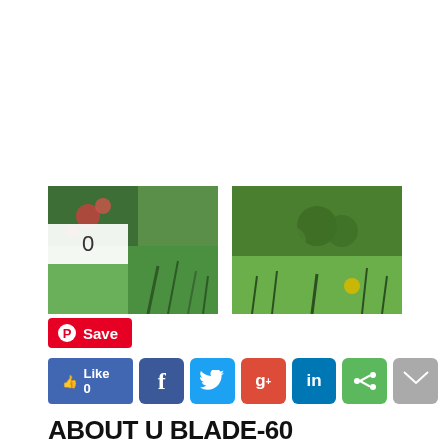[Figure (photo): Two thumbnail images of artificial grass products side by side, with a share count badge of 0 on the first image]
[Figure (infographic): Pinterest Save button (red), Facebook Like button (blue with 0), and social sharing buttons: Facebook (blue), Twitter (light blue), Google+ (red), LinkedIn (dark blue), Share (green), Email (gray)]
ABOUT U BLADE-60
Surface your commercial property with Global Syn-Turf outdoor carpet U Blade-60, the best artificial grass for commercial applications around. Maximize revenue, attract new customers, retain current customers with U Blade-60.